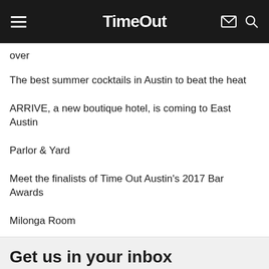Time Out
over
The best summer cocktails in Austin to beat the heat
ARRIVE, a new boutique hotel, is coming to East Austin
Parlor & Yard
Meet the finalists of Time Out Austin's 2017 Bar Awards
Milonga Room
The Vegan Yacht
These are the best places to drink a negroni during Negroni Week
The best things to do in Austin this weekend: June 2-4
Get us in your inbox